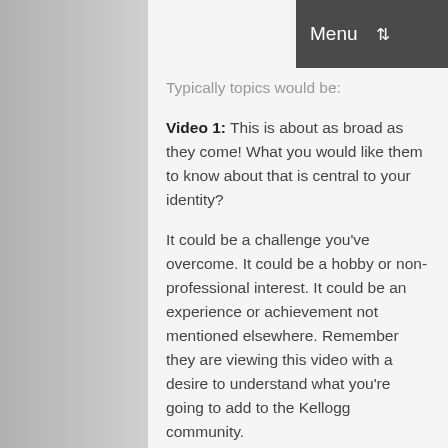Menu   Search
Typically topics would be:
Video 1: This is about as broad as they come! What you would like them to know about that is central to your identity?
It could be a challenge you've overcome. It could be a hobby or non-professional interest. It could be an experience or achievement not mentioned elsewhere. Remember they are viewing this video with a desire to understand what you're going to add to the Kellogg community.
Video 2: Why a Kellogg MBA? What do you want to do that Kellogg is uniquely well equipped to help you achieve?
Video 3: What challenges have you faced? For the second and third questions, again think of